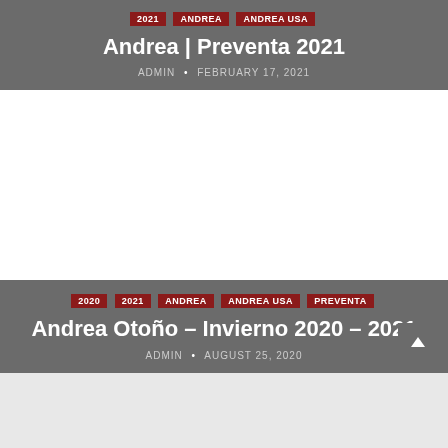2021 ANDREA ANDREA USA
Andrea | Preventa 2021
ADMIN • FEBRUARY 17, 2021
[Figure (other): White blank space (image placeholder)]
2020 2021 ANDREA ANDREA USA PREVENTA
Andrea Otoño – Invierno 2020 – 2021
ADMIN • AUGUST 25, 2020